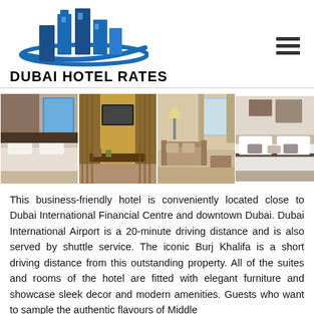[Figure (logo): Dubai Hotel Rates logo with blue building icon and swoosh, with hamburger menu icon on the right]
[Figure (photo): Four hotel room photos shown in a horizontal strip: modern bedroom with blue window view, hotel lobby/lounge with warm wood tones, suite living area with beige decor, and a white bed with decorative pillows]
This business-friendly hotel is conveniently located close to Dubai International Financial Centre and downtown Dubai. Dubai International Airport is a 20-minute driving distance and is also served by shuttle service. The iconic Burj Khalifa is a short driving distance from this outstanding property. All of the suites and rooms of the hotel are fitted with elegant furniture and showcase sleek decor and modern amenities. Guests who want to sample the authentic flavours of Middle